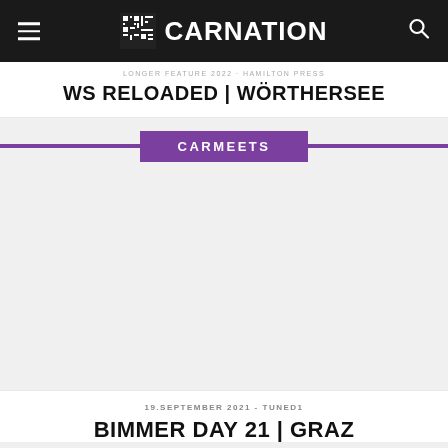CARNATION
WS RELOADED | WÖRTHERSEE
CARMEETS
19.SEPTEMBER 2021 - TUNED1
BIMMER DAY 21 | GRAZ